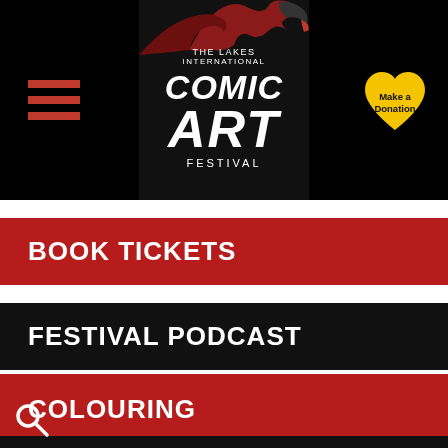[Figure (logo): The Lakes International Comic Art Festival logo with raven illustration in header bar]
Make a Donation
BOOK TICKETS
FESTIVAL PODCAST
COLOURING
LEASE DONATE